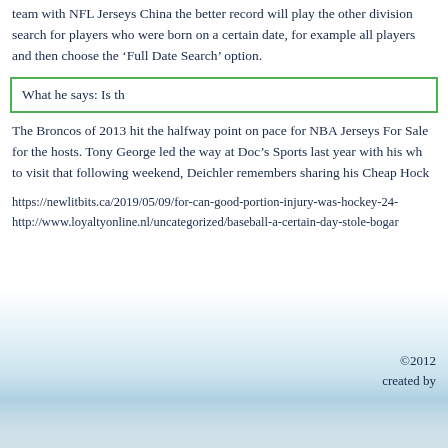team with NFL Jerseys China the better record will play the other division search for players who were born on a certain date, for example all players and then choose the ‘Full Date Search’ option.
What he says: Is th
The Broncos of 2013 hit the halfway point on pace for NBA Jerseys For Sale for the hosts. Tony George led the way at Doc’s Sports last year with his wh to visit that following weekend, Deichler remembers sharing his Cheap Hock
https://newlitbits.ca/2019/05/09/for-can-good-portion-injury-was-hockey-24-
http://www.loyaltyonline.nl/uncategorized/baseball-a-certain-day-stole-bogar
©2012
created by